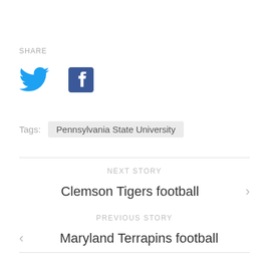SHARE
[Figure (illustration): Twitter bird icon (blue) and Facebook 'f' icon (blue square with white f)]
Tags: Pennsylvania State University
NEXT STORY
Clemson Tigers football
PREVIOUS STORY
Maryland Terrapins football